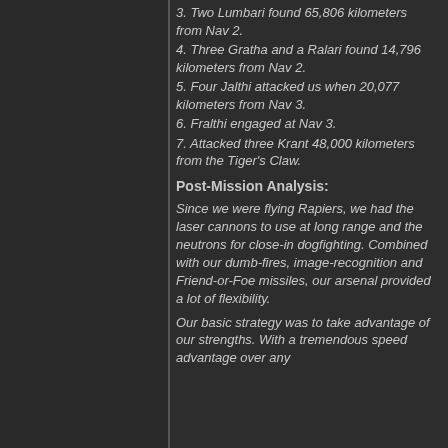3. Two Lumbari found 65,806 kilometers from Nav 2.
4. Three Gratha and a Ralari found 14,796 kilometers from Nav 2.
5. Four Jalthi attacked us when 20,077 kilometers from Nav 3.
6. Fralthi engaged at Nav 3.
7. Attacked three Krant 48,000 kilometers from the Tiger's Claw.
Post-Mission Analysis:
Since we were flying Rapiers, we had the laser cannons to use at long range and the neutrons for close-in dogfighting. Combined with our dumb-fires, image-recognition and Friend-or-Foe missiles, our arsenal provided a lot of flexibility.
Our basic strategy was to take advantage of our strengths. With a tremendous speed advantage over any